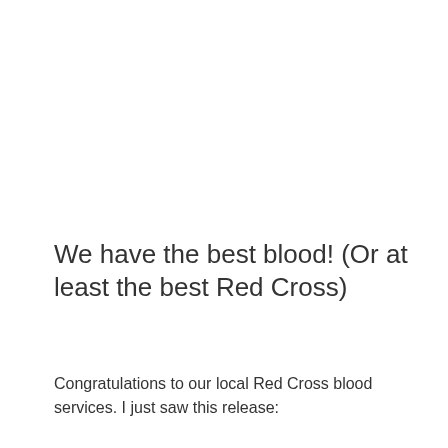We have the best blood! (Or at least the best Red Cross)
[Figure (other): Twitter Tweet button with bird icon]
Congratulations to our local Red Cross blood services. I just saw this release: